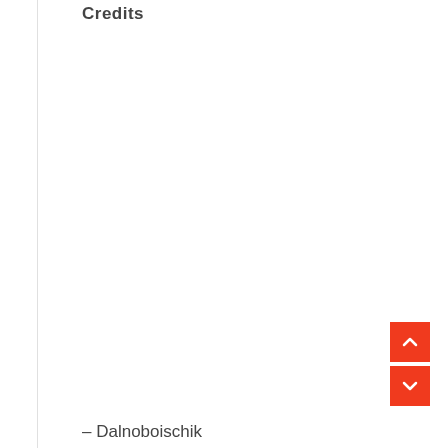Credits
[Figure (other): Two red navigation arrow buttons (up and down chevrons) stacked vertically on the right side of the page]
– Dalnoboischik